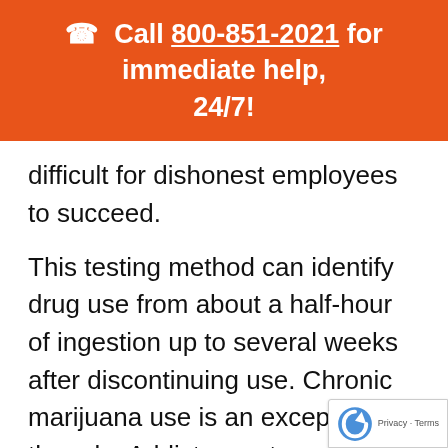☎ Call 800-851-2021 for immediate help, 24/7!
difficult for dishonest employees to succeed.
This testing method can identify drug use from about a half-hour of ingestion up to several weeks after discontinuing use. Chronic marijuana use is an exception to the rule. Addicts can test positive for up to thirty days. You ca...